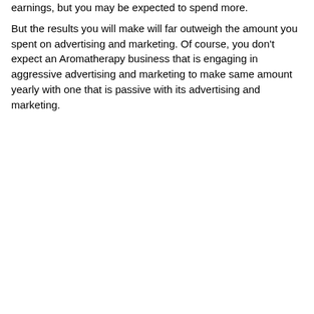earnings, but you may be expected to spend more.
But the results you will make will far outweigh the amount you spent on advertising and marketing. Of course, you don't expect an Aromatherapy business that is engaging in aggressive advertising and marketing to make same amount yearly with one that is passive with its advertising and marketing.